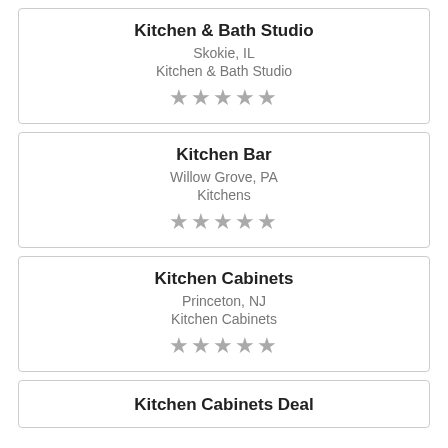Kitchen & Bath Studio
Skokie, IL
Kitchen & Bath Studio
[Figure (other): 5 star rating (empty stars)]
Kitchen Bar
Willow Grove, PA
Kitchens
[Figure (other): 5 star rating (empty stars)]
Kitchen Cabinets
Princeton, NJ
Kitchen Cabinets
[Figure (other): 5 star rating (empty stars)]
Kitchen Cabinets Deal